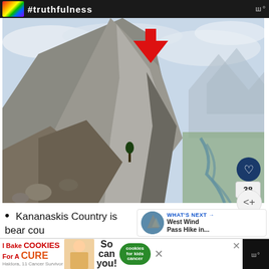[Figure (screenshot): Top advertisement banner with rainbow graphic and hashtag text on dark background, with logo at right]
[Figure (photo): Photograph of a dramatic rocky mountain peak in Kananaskis Country with a red arrow pointing to the summit. A winding river valley is visible in the background. Social interaction buttons (heart, count 38, share) are overlaid on the right side.]
Kananaskis Country is bear cou... love bears and would hate for any harm to
[Figure (screenshot): WHAT'S NEXT panel showing West Wind Pass Hike in...]
[Figure (screenshot): Cookies for a Cure advertisement banner at bottom of screen]